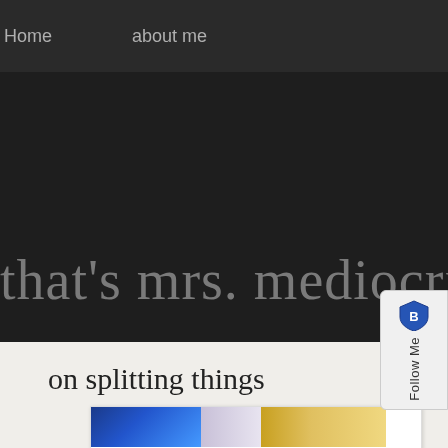Home    about me
that's mrs. mediocrity to yo
[Figure (screenshot): Follow Me widget with shield/logo icon on right side of page]
on splitting things down the middle
[Figure (photo): Partial photo strip showing blue, light purple, and gold/yellow tones at bottom of page]